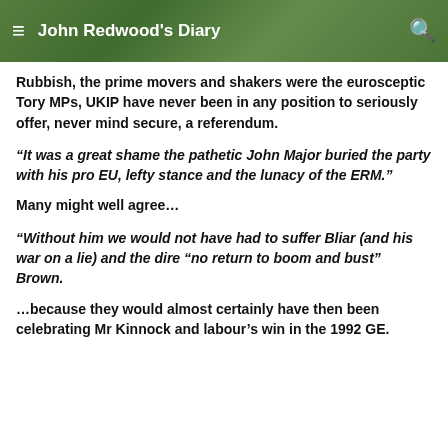John Redwood's Diary
Rubbish, the prime movers and shakers were the eurosceptic Tory MPs, UKIP have never been in any position to seriously offer, never mind secure, a referendum.
“It was a great shame the pathetic John Major buried the party with his pro EU, lefty stance and the lunacy of the ERM.”
Many might well agree…
“Without him we would not have had to suffer Bliar (and his war on a lie) and the dire “no return to boom and bust” Brown.
…because they would almost certainly have then been celebrating Mr Kinnock and labour’s win in the 1992 GE.